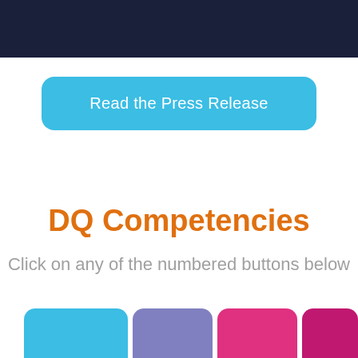[Figure (other): Dark navy blue header bar at the top of the page]
Read the Press Release
DQ Competencies
Click on any of the numbered buttons below
[Figure (other): Row of four colored rounded-rectangle buttons at the bottom: cyan, purple/mauve, pink/hot-pink, and magenta/dark-pink]